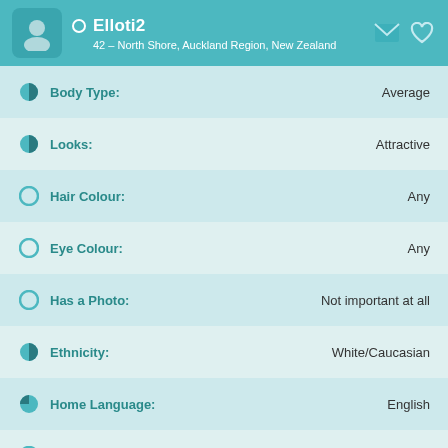Elloti2 — 42 – North Shore, Auckland Region, New Zealand
Body Type: Average
Looks: Attractive
Hair Colour: Any
Eye Colour: Any
Has a Photo: Not important at all
Ethnicity: White/Caucasian
Home Language: English
Other Languages: Any